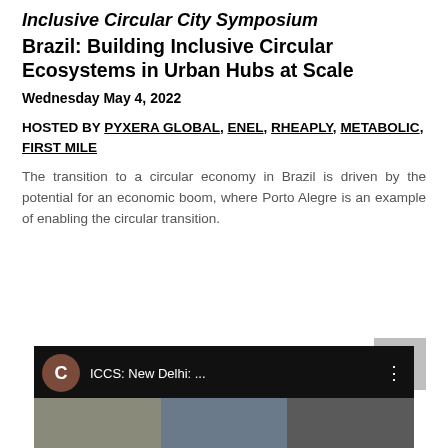Inclusive Circular City Symposium Brazil: Building Inclusive Circular Ecosystems in Urban Hubs at Scale
Wednesday May 4, 2022
HOSTED BY PYXERA GLOBAL, ENEL, RHEAPLY, METABOLIC, FIRST MILE
The transition to a circular economy in Brazil is driven by the potential for an economic boom, where Porto Alegre is an example of enabling the circular transition.
[Figure (screenshot): Video thumbnail showing ICCS: New Delhi: ... with a brown avatar circle with letter C, three-dot menu, and a preview image of people]